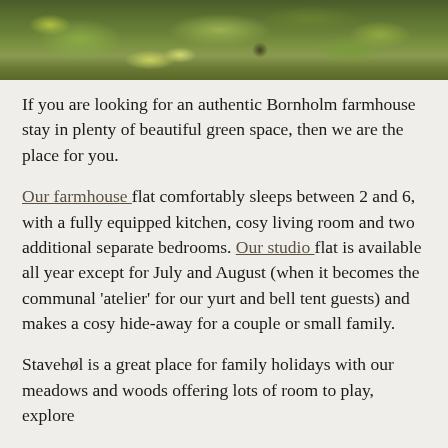[Figure (photo): A close-up photograph of a green grassy hillside or lawn, showing lush green grass with some yellow-green patches, taken from a low angle.]
If you are looking for an authentic Bornholm farmhouse stay in plenty of beautiful green space, then we are the place for you.
Our farmhouse flat comfortably sleeps between 2 and 6, with a fully equipped kitchen, cosy living room and two additional separate bedrooms. Our studio flat is available all year except for July and August (when it becomes the communal 'atelier' for our yurt and bell tent guests) and makes a cosy hide-away for a couple or small family.
Stavehøl is a great place for family holidays with our meadows and woods offering lots of room to play, explore